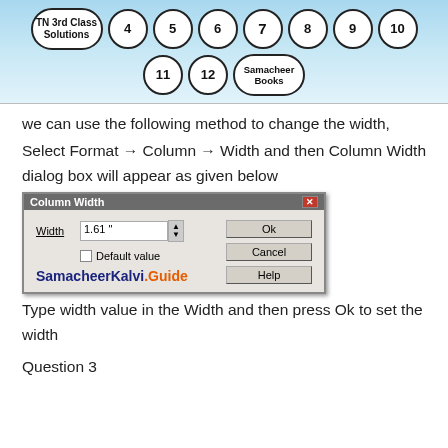TN 3rd Class Solutions | 4 | 5 | 6 | 7 | 8 | 9 | 10 | 11 | 12 | Samacheer Books
we can use the following method to change the width,
Select Format → Column → Width and then Column Width dialog box will appear as given below
[Figure (screenshot): Column Width dialog box showing Width field with value 1.61", a Default value checkbox, and Ok, Cancel, Help buttons. SamacheerKalvi.Guide logo at bottom left.]
Type width value in the Width and then press Ok to set the width
Question 3